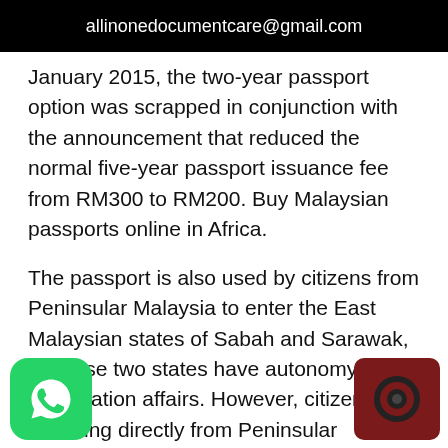allinonedocumentcare@gmail.com
January 2015, the two-year passport option was scrapped in conjunction with the announcement that reduced the normal five-year passport issuance fee from RM300 to RM200. Buy Malaysian passports online in Africa.
The passport is also used by citizens from Peninsular Malaysia to enter the East Malaysian states of Sabah and Sarawak, as these two states have autonomy in immigration affairs. However, citizens travelling directly from Peninsular Malaysia may produce a Malaysian identity card, or birth certificate for children below 12 years, in a special immigration printout form (Document in Lieu of Internal Travel Document IMM.114) at immigration counters for
[Figure (logo): WhatsApp logo icon, green rounded square background with white phone handset symbol]
[Figure (logo): Camera/record icon, dark red/maroon square with circular camera lens graphic]